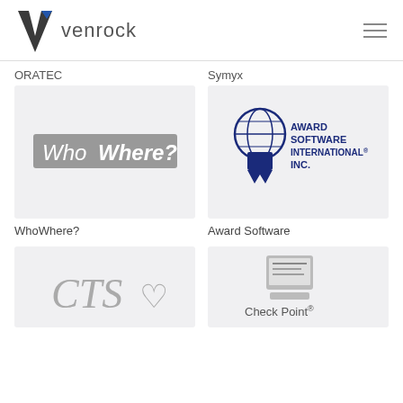[Figure (logo): Venrock logo: dark V with blue triangle accent, followed by 'venrock' text in gray]
ORATEC
Symyx
[Figure (logo): WhoWhere? logo: white italic bold text on a gray rectangular background]
[Figure (logo): Award Software International Inc. logo: globe with ribbon and bold navy blue text]
WhoWhere?
Award Software
[Figure (logo): CTS heart logo in gray cursive lettering]
[Figure (logo): Check Point logo: gray computer monitor icon with 'Check Point' text below]